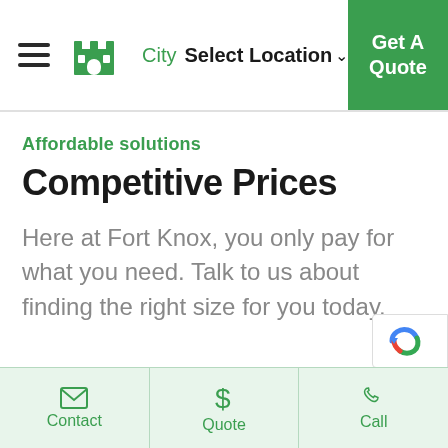City Select Location ∨ | Get A Quote
Affordable solutions
Competitive Prices
Here at Fort Knox, you only pay for what you need. Talk to us about finding the right size for you today.
Contact | Quote | Call